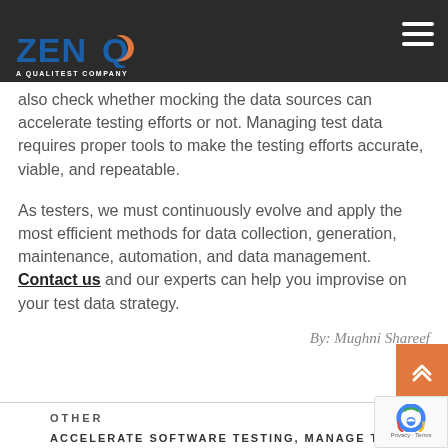ZENQ — A QUALITEST COMPANY
also check whether mocking the data sources can accelerate testing efforts or not. Managing test data requires proper tools to make the testing efforts accurate, viable, and repeatable.
As testers, we must continuously evolve and apply the most efficient methods for data collection, generation, maintenance, automation, and data management. Contact us and our experts can help you improvise on your test data strategy.
By: Mughni Shareef
OTHER
ACCELERATE SOFTWARE TESTING, MANAGE TEST